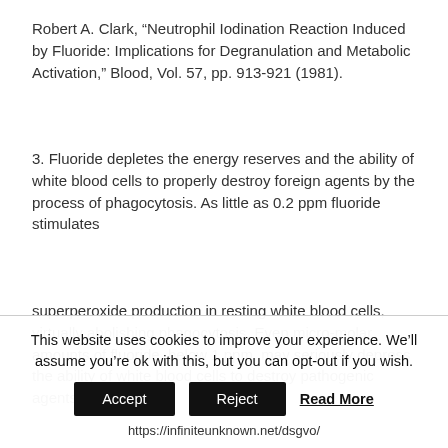Robert A. Clark, “Neutrophil Iodination Reaction Induced by Fluoride: Implications for Degranulation and Metabolic Activation,” Blood, Vol. 57, pp. 913-921 (1981).
3. Fluoride depletes the energy reserves and the ability of white blood cells to properly destroy foreign agents by the process of phagocytosis. As little as 0.2 ppm fluoride stimulates
superperoxide production in resting white blood cells, virtually abolishing phagocytosis. Even micro-molar amounts of fluoride, below 1 ppm, may seriously depress the ability of white blood cells to destroy pathogenic agents.
John Curnette, et al, “Fluoride-mediated Activation of the Respiratory Burst in Human Neutrophils,” Journal of Clinical Investigation, Vol. 63, pp. 637-647 (1979); W. L.
This website uses cookies to improve your experience. We’ll assume you’re ok with this, but you can opt-out if you wish.
Accept  Reject  Read More
https://infiniteunknown.net/dsgvo/